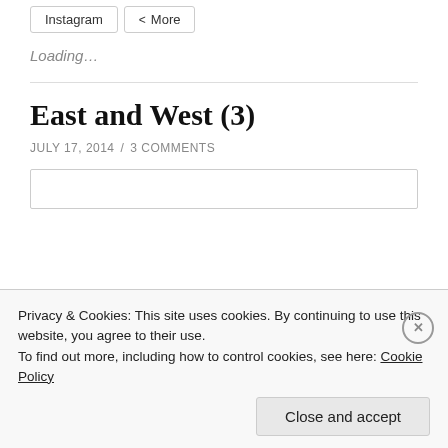[Figure (screenshot): Row of social sharing buttons (Instagram, More) at top of page]
Loading...
East and West (3)
JULY 17, 2014 / 3 COMMENTS
Privacy & Cookies: This site uses cookies. By continuing to use this website, you agree to their use.
To find out more, including how to control cookies, see here: Cookie Policy
Close and accept